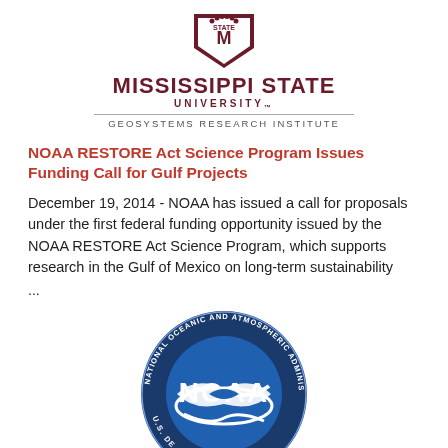[Figure (logo): Mississippi State University Geosystems Research Institute logo with MSU shield and text]
NOAA RESTORE Act Science Program Issues Funding Call for Gulf Projects
December 19, 2014 - NOAA has issued a call for proposals under the first federal funding opportunity issued by the NOAA RESTORE Act Science Program, which supports research in the Gulf of Mexico on long-term sustainability
...
[Figure (logo): NOAA (National Oceanic and Atmospheric Administration) circular blue and white logo with bird and text around the border]